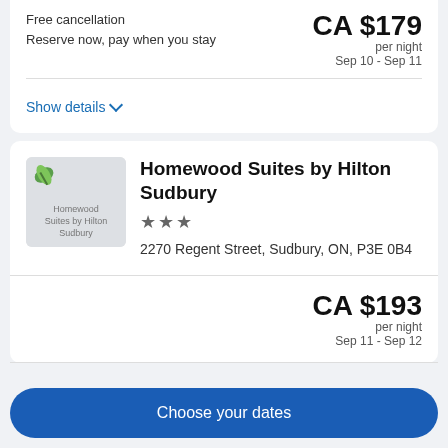Free cancellation
Reserve now, pay when you stay
CA $179 per night
Sep 10 - Sep 11
Show details
[Figure (photo): Homewood Suites by Hilton Sudbury hotel thumbnail image]
Homewood Suites by Hilton Sudbury
★★★
2270 Regent Street, Sudbury, ON, P3E 0B4
CA $193 per night
Sep 11 - Sep 12
Choose your dates